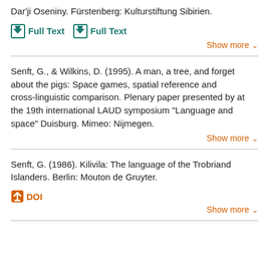Dar'ji Oseniny. Fürstenberg: Kulturstiftung Sibirien.
Full Text  Full Text
Show more
Senft, G., & Wilkins, D. (1995). A man, a tree, and forget about the pigs: Space games, spatial reference and cross-linguistic comparison. Plenary paper presented by at the 19th international LAUD symposium "Language and space" Duisburg. Mimeo: Nijmegen.
Show more
Senft, G. (1986). Kilivila: The language of the Trobriand Islanders. Berlin: Mouton de Gruyter.
DOI
Show more